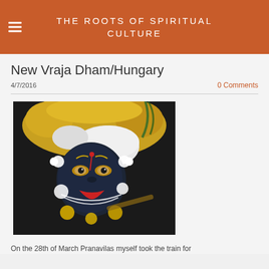THE ROOTS OF SPIRITUAL CULTURE
New Vraja Dham/Hungary
4/7/2016
0 Comments
[Figure (photo): Close-up photo of a Krishna deity (Shyamasundara) adorned with yellow and white floral garlands, pearl necklaces, a yellow and white turban, and holding a flute. The deity has a dark blue/black face with golden ornaments and red lips.]
On the 28th of March Pranavilas myself took the train for